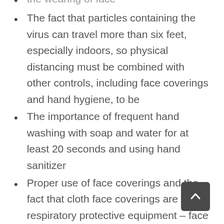the wearing of face [truncated top]
The fact that particles containing the virus can travel more than six feet, especially indoors, so physical distancing must be combined with other controls, including face coverings and hand hygiene, to be
The importance of frequent hand washing with soap and water for at least 20 seconds and using hand sanitizer
Proper use of face coverings and the fact that cloth face coverings are not respiratory protective equipment – face coverings are intended to primarily protect other individuals from the wearer of the face covering.
COVID-19 symptoms, and the importance of obtaining a COVID-19 test and not coming to work